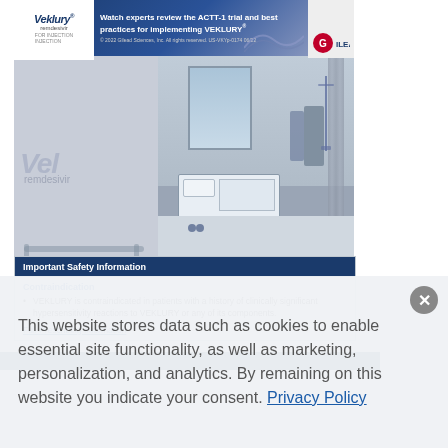[Figure (screenshot): Veklury (remdesivir) pharmaceutical advertisement banner with hospital room image, Important Safety Information box with Contraindication, and cookie consent overlay. The ad is from Gilead Sciences and shows watch experts review the ACTT-1 trial and best practices for implementing VEKLURY.]
Watch experts review the ACTT-1 trial and best practices for implementing VEKLURY®
© 2022 Gilead Sciences, Inc. All rights reserved. US-VKYp-0174 06/22
Important Safety Information
Contraindication
VEKLURY is contraindicated in patients with a history of clinically significant hypersensitivity reactions to VEKLURY or any of its components.
Full Prescribing Information
This website stores data such as cookies to enable essential site functionality, as well as marketing, personalization, and analytics. By remaining on this website you indicate your consent. Privacy Policy